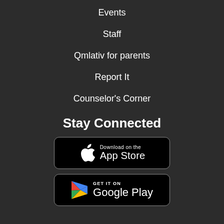Events
Staff
Qmlativ for parents
Report It
Counselor's Corner
Stay Connected
[Figure (other): Download on the App Store badge button]
[Figure (other): Get it on Google Play badge button]